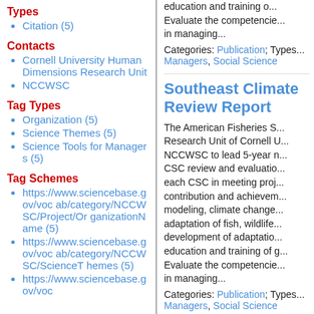Types
Citation (5)
Contacts
Cornell University Human Dimensions Research Unit
NCCWSC
Tag Types
Organization (5)
Science Themes (5)
Science Tools for Managers (5)
Tag Schemes
https://www.sciencebase.gov/vocab/category/NCCWSC/Project/OrganizationName (5)
https://www.sciencebase.gov/vocab/category/NCCWSC/ScienceThemes (5)
https://www.sciencebase.gov/voc
education and training of...
Evaluate the competencie...
in managing...
Categories: Publication; Types...
Managers, Social Science
Southeast Climate Review Report
The American Fisheries S... Research Unit of Cornell U... NCCWSC to lead 5-year n... CSC review and evaluatio... each CSC in meeting proj... contribution and achievem... modeling, climate change... adaptation of fish, wildlife... development of adaptatio... education and training of g... Evaluate the competencie... in managing...
Categories: Publication; Types...
Managers, Social Science